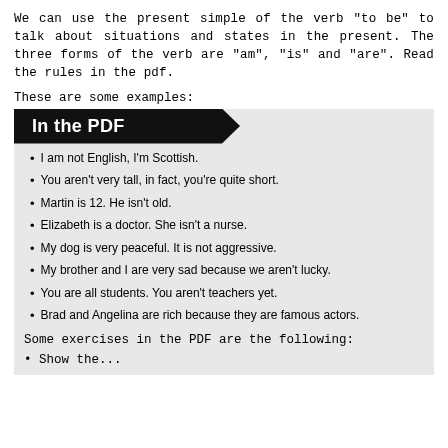We can use the present simple of the verb "to be" to talk about situations and states in the present. The three forms of the verb are "am", "is" and "are". Read the rules in the pdf.
These are some examples:
[Figure (other): Black arrow-shaped banner with white bold text reading 'In the PDF']
I am not English, I'm Scottish.
You aren't very tall, in fact, you're quite short.
Martin is 12. He isn't old.
Elizabeth is a doctor. She isn't a nurse.
My dog is very peaceful. It is not aggressive.
My brother and I are very sad because we aren't lucky.
You are all students. You aren't teachers yet.
Brad and Angelina are rich because they are famous actors.
Some exercises in the PDF are the following:
Show the...